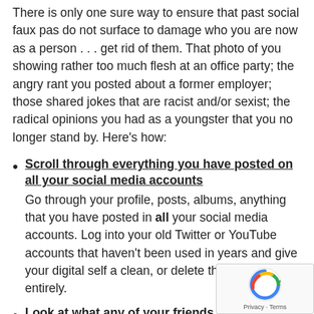There is only one sure way to ensure that past social faux pas do not surface to damage who you are now as a person . . . get rid of them. That photo of you showing rather too much flesh at an office party; the angry rant you posted about a former employer; those shared jokes that are racist and/or sexist; the radical opinions you had as a youngster that you no longer stand by. Here's how:
Scroll through everything you have posted on all your social media accounts — Go through your profile, posts, albums, anything that you have posted in all your social media accounts. Log into your old Twitter or YouTube accounts that haven't been used in years and give your digital self a clean, or delete the accounts entirely.
Look at what any of your friends or family have posted about you — Unfortunately, you don't have complete control others post about you. Simply removing a tag doesn't